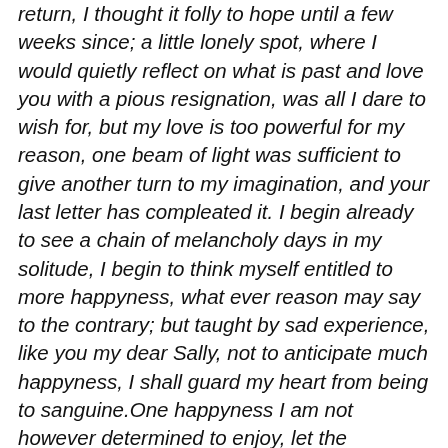return, I thought it folly to hope until a few weeks since; a little lonely spot, where I would quietly reflect on what is past and love you with a pious resignation, was all I dare to wish for, but my love is too powerful for my reason, one beam of light was sufficient to give another turn to my imagination, and your last letter has compleated it. I begin already to see a chain of melancholy days in my solitude, I begin to think myself entitled to more happyness, what ever reason may say to the contrary; but taught by sad experience, like you my dear Sally, not to anticipate much happyness, I shall guard my heart from being to sanguine.One happyness I am not however determined to enjoy, let the consequences be what they will. I will see you, dear excellent girl, I will hear it confirmed from your lips that your heart is above the caprices of fortune, that it is as constant as my own. But though I feel now as much